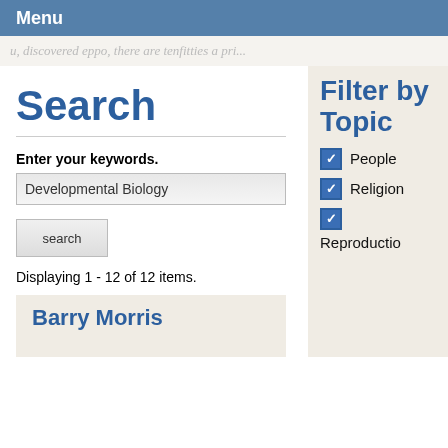Menu
u, discovered eppo, there are tenfitties a pri...
Search
Enter your keywords.
Developmental Biology
search
Displaying 1 - 12 of 12 items.
Filter by Topic
People
Religion
Reproductio
Barry Morris